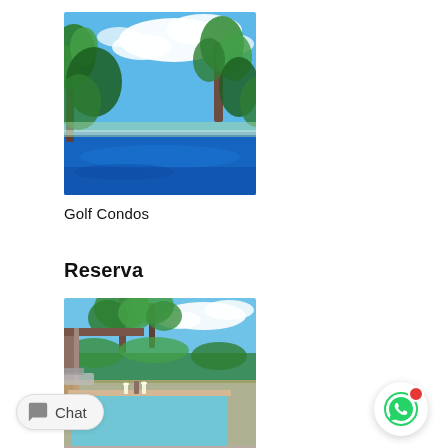[Figure (photo): Tropical resort infinity pool with palm trees and blue sky, lush green tropical vegetation]
Golf Condos
Reserva
[Figure (photo): Luxury outdoor pool/jacuzzi with wooden pergola, palm trees, blue sky, candles and bottles on edge]
Chat
[Figure (other): WhatsApp floating action button with red notification dot]